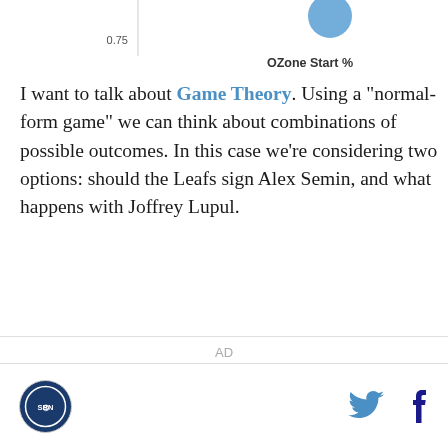[Figure (continuous-plot): Partial scatter/bubble chart fragment visible at top, showing axis label 'OZone Start %' and a blue circle marker near label '0.75' on the y-axis.]
I want to talk about Game Theory. Using a "normal-form game" we can think about combinations of possible outcomes. In this case we're considering two options: should the Leafs sign Alex Semin, and what happens with Joffrey Lupul.
AD
[logo] [twitter icon] [facebook icon]